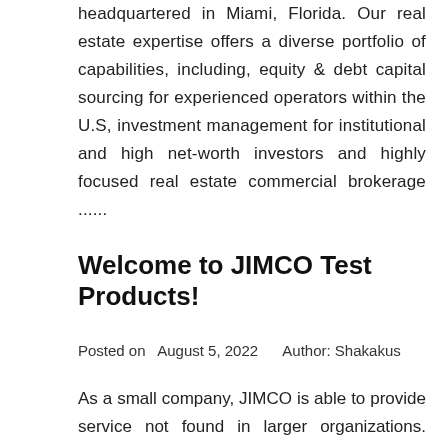headquartered in Miami, Florida. Our real estate expertise offers a diverse portfolio of capabilities, including, equity & debt capital sourcing for experienced operators within the U.S, investment management for institutional and high net-worth investors and highly focused real estate commercial brokerage ......
Welcome to JIMCO Test Products!
Posted on  August 5, 2022     Author: Shakakus
As a small company, JIMCO is able to provide service not found in larger organizations. There's